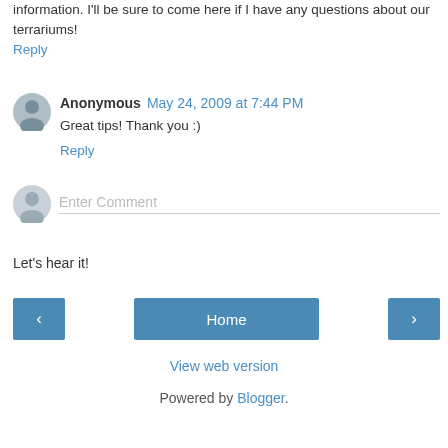information. I'll be sure to come here if I have any questions about our terrariums!
Reply
Anonymous  May 24, 2009 at 7:44 PM
Great tips! Thank you :)
Reply
Enter Comment
Let's hear it!
Home
View web version
Powered by Blogger.